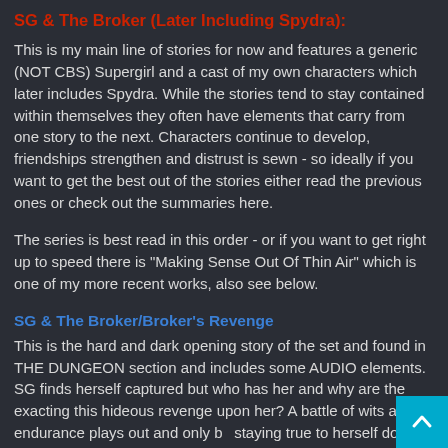SG & The Broker (Later Including Spydra):
This is my main line of stories for now and features a generic (NOT CBS) Supergirl and a cast of my own characters which later includes Spydra. While the stories tend to stay contained within themselves they often have elements that carry from one story to the next. Characters continue to develop, friendships strengthen and distrust is sewn - so ideally if you want to get the best out of the stories either read the previous ones or check out the summaries here.
The series is best read in this order - or if you want to get right up to speed there is "Making Sense Out Of Thin Air" which is one of my more recent works, also see below.
SG & The Broker/Broker's Revenge
This is the hard and dark opening story of the set and found in THE DUNGEON section and includes some AUDIO elements. SG finds herself captured but who has her and why are the exacting this hideous revenge upon her? A battle of wits and endurance plays out and only by staying true to herself does SG have a chance to survive. If hard content is NOT for you then try starting at The Get